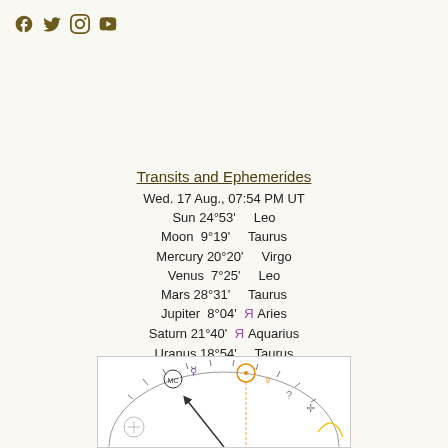Social media icons (Facebook, Twitter, Instagram, YouTube)
Transits and Ephemerides
Wed. 17 Aug., 07:54 PM UT
Sun 24°53'    Leo
Moon  9°19'    Taurus
Mercury 20°20'    Virgo
Venus  7°25'    Leo
Mars 28°31'    Taurus
Jupiter  8°04'  Я Aries
Saturn 21°40'  Я Aquarius
Uranus 18°54'    Taurus
Neptune 24°49'  Я Pisces
Pluto 26°42'  Я Capricorn
Chiron 16°04'  Я Aries
True Node 17°10'  Я Taurus
True Lilith 12°10'  Я Cancer
[Figure (illustration): Astrological chart wheel showing planetary symbols including MC, Mercury, Sun, Venus symbols near the top of the chart wheel]